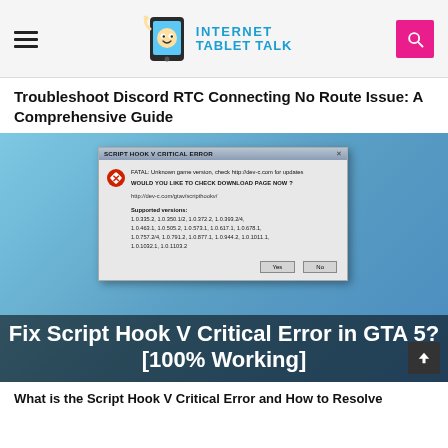Internet Tablet Talk
Troubleshoot Discord RTC Connecting No Route Issue: A Comprehensive Guide
[Figure (screenshot): Screenshot of a blog post image showing a Script Hook V Critical Error dialog box on a blue background with overlay text: Fix Script Hook V Critical Error in GTA 5? [100% Working]]
What is the Script Hook V Critical Error and How to Resolve